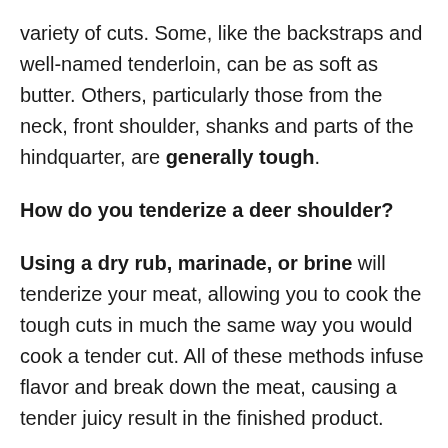variety of cuts. Some, like the backstraps and well-named tenderloin, can be as soft as butter. Others, particularly those from the neck, front shoulder, shanks and parts of the hindquarter, are generally tough.
How do you tenderize a deer shoulder?
Using a dry rub, marinade, or brine will tenderize your meat, allowing you to cook the tough cuts in much the same way you would cook a tender cut. All of these methods infuse flavor and break down the meat, causing a tender juicy result in the finished product.